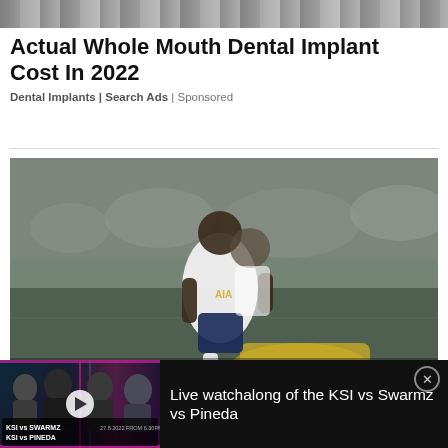[Figure (photo): Cropped photo strip showing people, likely from a sports match crowd or players, shown at top]
Actual Whole Mouth Dental Implant Cost In 2022
Dental Implants | Search Ads | Sponsored
[Figure (photo): Soccer match action photo showing a Tottenham Hotspur player in white jersey with AIA sponsor, jumping over a fallen opponent in a gold/yellow jersey, crowd in background]
[Figure (other): Video ad banner showing KSI vs Swarmz vs Pineda boxing watchalong promotion with thumbnail image and text 'Live watchalong of the KSI vs Swarmz vs Pineda']